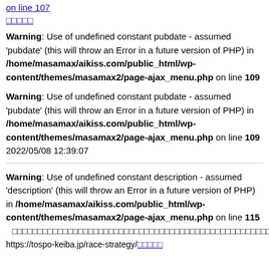on line 107
□□□□□
Warning: Use of undefined constant pubdate - assumed 'pubdate' (this will throw an Error in a future version of PHP) in /home/masamax/aikiss.com/public_html/wp-content/themes/masamax2/page-ajax_menu.php on line 109
Warning: Use of undefined constant pubdate - assumed 'pubdate' (this will throw an Error in a future version of PHP) in /home/masamax/aikiss.com/public_html/wp-content/themes/masamax2/page-ajax_menu.php on line 109
2022/05/08 12:39:07
Warning: Use of undefined constant description - assumed 'description' (this will throw an Error in a future version of PHP) in /home/masamax/aikiss.com/public_html/wp-content/themes/masamax2/page-ajax_menu.php on line 115
□□□□□□□□□□□□□□□□□□□□□□□□□□□□□□□□□□□□□□□□□□□□□□□□□□□□□□□
https://tospo-keiba.jp/race-strategy/□□□□□